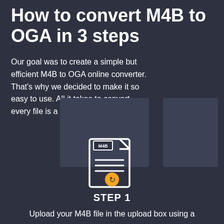How to convert M4B to OGA in 3 steps
Our goal was to create a simple but efficient M4B to OGA online converter. That's why we decided to make it so easy to use. All it takes to convert every file is a three-step process.
[Figure (illustration): File icon with M4B label, text lines, and a yellow circular conversion arrow at the bottom]
STEP 1
Upload your M4B file in the upload box using a